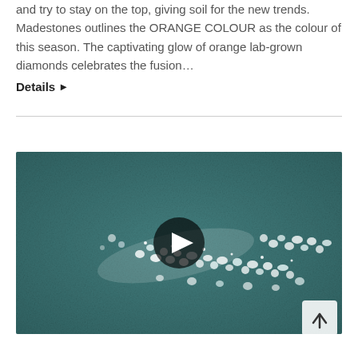and try to stay on the top, giving soil for the new trends. Madestones outlines the ORANGE COLOUR as the colour of this season. The captivating glow of orange lab-grown diamonds celebrates the fusion…
Details ▶
[Figure (photo): A video thumbnail showing sparkling lab-grown diamonds scattered on a teal/dark blue-green fabric surface, with a YouTube-style play button overlay in the center.]